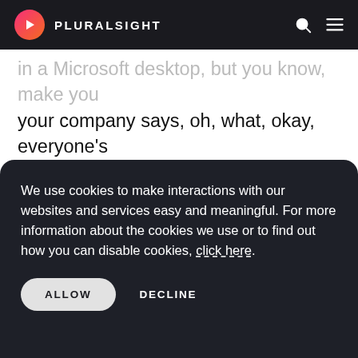PLURALSIGHT
in a Microsoft desktop, but you know, make your your company says, oh, what, okay, everyone's going to Ubuntu. And so, oh, well, okay, no problem. You know VS Code because it's the same on Linux as it is on Windows or Mac or for that matter too. So taking the time to learn to use VS Code is definitely worth your
We use cookies to make interactions with our websites and services easy and meaningful. For more information about the cookies we use or to find out how you can disable cookies, click here.
ALLOW
DECLINE